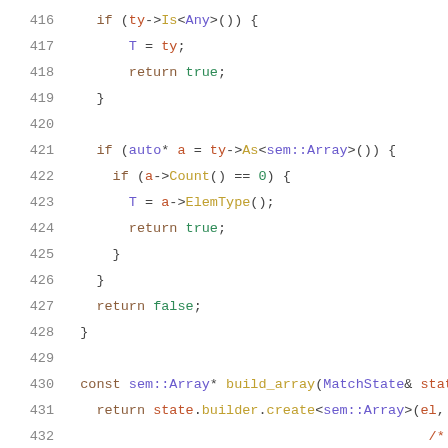Source code listing lines 416-436 showing C++ code with syntax highlighting